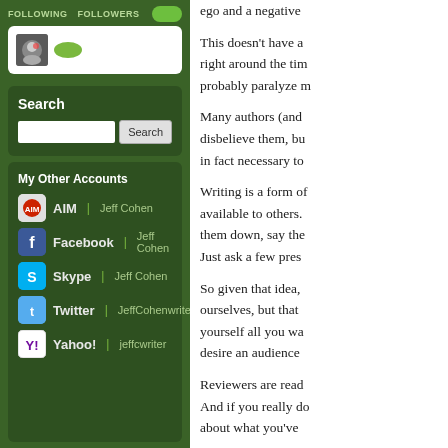FOLLOWING   FOLLOWERS
[Figure (screenshot): Social profile following/followers bar with avatar and badge]
Search
[Figure (screenshot): Search input box with Search button]
My Other Accounts
AIM | Jeff Cohen
Facebook | Jeff Cohen
Skype | Jeff Cohen
Twitter | JeffCohenwriter
Yahoo! | jeffcwriter
ego and a negative...
This doesn't have a... right around the tim... probably paralyze m...
Many authors (and... disbelieve them, bu... in fact necessary to...
Writing is a form of... available to others.... them down, say the... Just ask a few pres...
So given that idea,... ourselves, but that... yourself all you wa... desire an audience...
Reviewers are read... And if you really do... about what you've...
Sure, you can mak... people want that w...